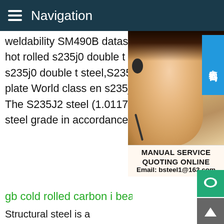Navigation
weldability SM490B datasheet,SM490B m hot rolled s235j0 double t steel - Carbon s s235j0 double t steel,S235J0 double T ste plate World class en s235j2 double t steel The S235J2 steel (1.0117 material) is an r steel grade in accordance with EN 10025
[Figure (photo): Customer service representative wearing a headset, with Chinese text button overlay reading '在线咨询' (Online Consultation) and a Manual Service box below with QUOTING ONLINE and Email: bsteel1@163.com]
gb cold rolled carbon i beam j
Structural steel is a category of steel used materials in a Most steels used throughou comply with the European standard EN 10025 Universal Beam,Rolled Steel Joist,or double-T,is a beam with an I or H-shaped cross-section.china jis g3101 ss330 steel plate - LAB STEELSS330,SS330 STEEL,SS330 PLATE.Under Janpan ste standard JIS G3101,there are carbon steel grades ss330 ss490 ss490 and ss540 For carbon steel plate SS330 u